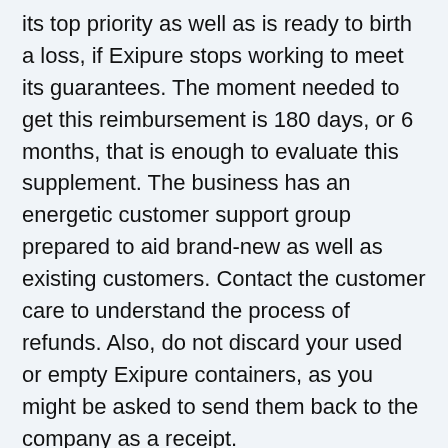its top priority as well as is ready to birth a loss, if Exipure stops working to meet its guarantees. The moment needed to get this reimbursement is 180 days, or 6 months, that is enough to evaluate this supplement. The business has an energetic customer support group prepared to aid brand-new as well as existing customers. Contact the customer care to understand the process of refunds. Also, do not discard your used or empty Exipure containers, as you might be asked to send them back to the company as a receipt.
Do not trust fund sources besides the main site to get your Exipure order as this refund policy does not apply on containers bought from unapproved resources. The refund requests obtained after exceeding this 180-day limitation will not be honored.